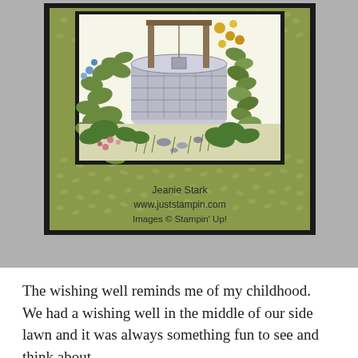[Figure (photo): A handmade stamped card featuring a wishing well scene. The card has a black card base with olive/sage green patterned paper (leaf pattern) as a mat, and a smaller black mat layered on top. The focal stamped image shows a stone wishing well surrounded by lush greenery, flowers (yellow roses, blue flowers, pink flowers), and vines. The scene is colored with markers or pencils. Below the image is text: 'Jeanie Stark / www.juststampin.com / Images © Stampin' Up!']
The wishing well reminds me of my childhood.  We had a wishing well in the middle of our side lawn and it was always something fun to see and think about...